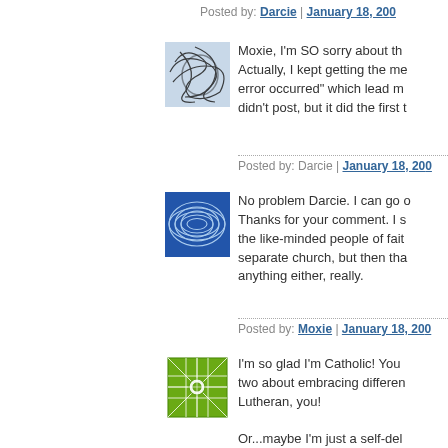Posted by: Darcie | January 18, 200...
[Figure (illustration): Abstract black scribble pattern avatar on light blue background]
Moxie, I'm SO sorry about the... Actually, I kept getting the me... error occurred" which lead me... didn't post, but it did the first t...
Posted by: Darcie | January 18, 200...
[Figure (illustration): Blue concentric oval pattern avatar on blue background]
No problem Darcie. I can go o... Thanks for your comment. I s... the like-minded people of fait... separate church, but then tha... anything either, really.
Posted by: Moxie | January 18, 200...
[Figure (illustration): Green geometric star/grid pattern avatar on white background]
I'm so glad I'm Catholic! You... two about embracing differen... Lutheran, you!

Or...maybe I'm just a self-del...